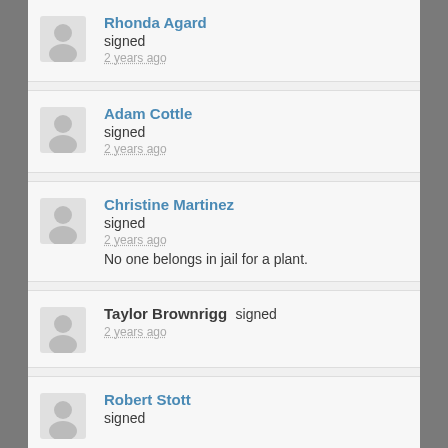Rhonda Agard
signed
2 years ago
Adam Cottle
signed
2 years ago
Christine Martinez
signed
2 years ago
No one belongs in jail for a plant.
Taylor Brownrigg signed
2 years ago
Robert Stott
signed